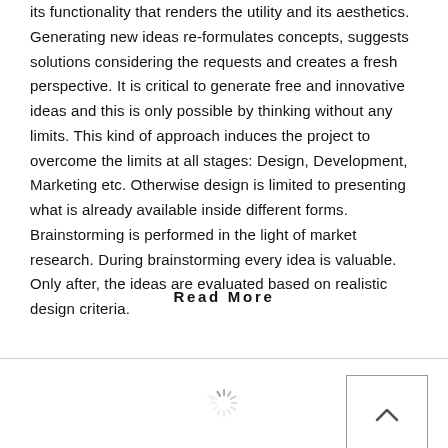its functionality that renders the utility and its aesthetics. Generating new ideas re-formulates concepts, suggests solutions considering the requests and creates a fresh perspective. It is critical to generate free and innovative ideas and this is only possible by thinking without any limits. This kind of approach induces the project to overcome the limits at all stages: Design, Development, Marketing etc. Otherwise design is limited to presenting what is already available inside different forms. Brainstorming is performed in the light of market research. During brainstorming every idea is valuable. Only after, the ideas are evaluated based on realistic design criteria.
Read More
[Figure (other): A loading spinner icon (circular spinner with radiating lines indicating loading state), shown partially cropped at the bottom center of the page.]
[Figure (other): A back-to-top button: a square with a thin border containing an upward-pointing chevron/caret arrow, positioned at the bottom right of the page.]